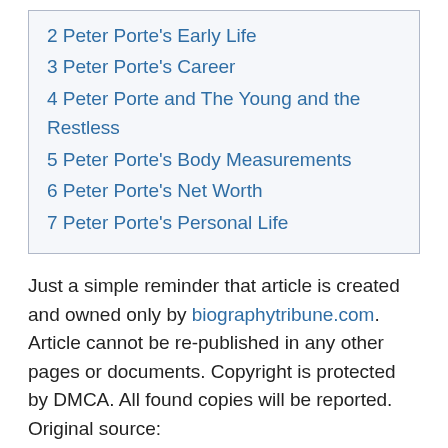2 Peter Porte's Early Life
3 Peter Porte's Career
4 Peter Porte and The Young and the Restless
5 Peter Porte's Body Measurements
6 Peter Porte's Net Worth
7 Peter Porte's Personal Life
Just a simple reminder that article is created and owned only by biographytribune.com. Article cannot be re-published in any other pages or documents. Copyright is protected by DMCA. All found copies will be reported. Original source: https://biographytribune.com/who-is-peter-porte-his-bio-wiki-wife-brother-parents-